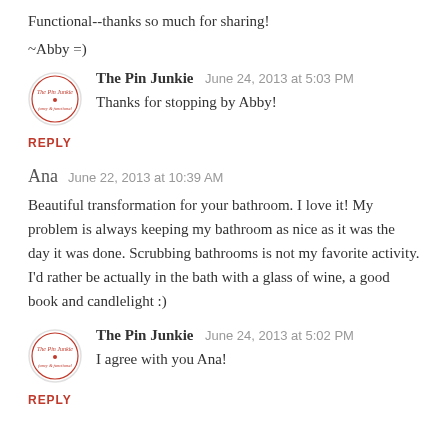Functional--thanks so much for sharing!
~Abby =)
The Pin Junkie   June 24, 2013 at 5:03 PM
Thanks for stopping by Abby!
REPLY
Ana   June 22, 2013 at 10:39 AM
Beautiful transformation for your bathroom. I love it! My problem is always keeping my bathroom as nice as it was the day it was done. Scrubbing bathrooms is not my favorite activity. I'd rather be actually in the bath with a glass of wine, a good book and candlelight :)
The Pin Junkie   June 24, 2013 at 5:02 PM
I agree with you Ana!
REPLY